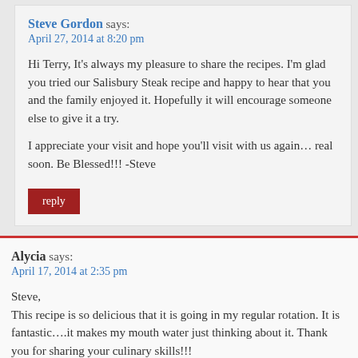Steve Gordon says: April 27, 2014 at 8:20 pm
Hi Terry, It's always my pleasure to share the recipes. I'm glad you tried our Salisbury Steak recipe and happy to hear that you and the family enjoyed it. Hopefully it will encourage someone else to give it a try.

I appreciate your visit and hope you'll visit with us again… real soon. Be Blessed!!! -Steve
reply
Alycia says: April 17, 2014 at 2:35 pm
Steve,
This recipe is so delicious that it is going in my regular rotation. It is fantastic….it makes my mouth water just thinking about it. Thank you for sharing your culinary skills!!!
Blessings on you!
Alycia